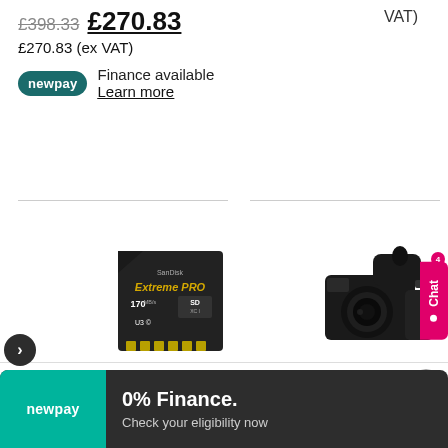VAT)
£398.33 £270.83
£270.83 (ex VAT)
Finance available
Learn more
[Figure (photo): SanDisk Extreme PRO 170MB/s SD card]
[Figure (photo): Sony professional video camera]
Chat
We use cookies on our website to give you the most relevant experience by remembering your preferences and repeat visits. By clicking "Accept", you consent to the use of ALL the cookies. You may visit "Cookie Settings" to provide a controlled consent.
Accept
newpay
0% Finance.
Check your eligibility now